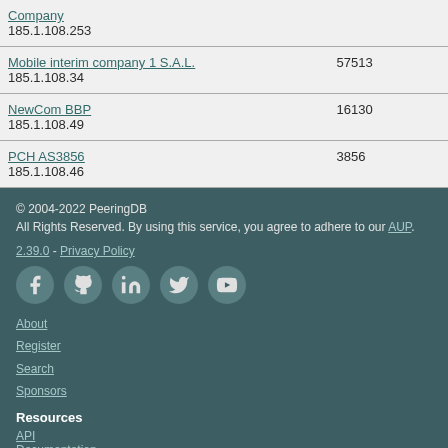| Company / IP | ASN |
| --- | --- |
| Company
185.1.108.253 |  |
| Mobile interim company 1 S.A.L.
185.1.108.34 | 57513 |
| NewCom BBP
185.1.108.49 | 16130 |
| PCH AS3856
185.1.108.46 | 3856 |
© 2004-2022 PeeringDB
All Rights Reserved. By using this service, you agree to adhere to our AUP.

2.39.0 - Privacy Policy

About
Register
Search
Sponsors

Resources
API
Documentation